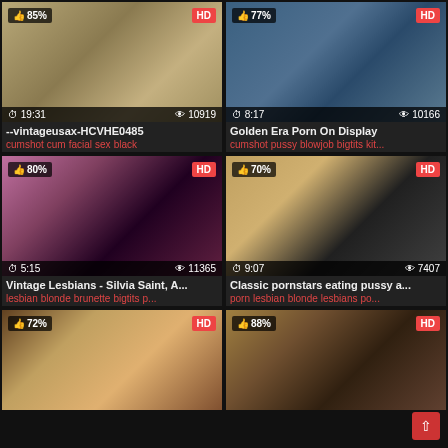[Figure (screenshot): Video thumbnail grid showing 6 adult video thumbnails with ratings, durations, view counts, titles and tags]
--vintageusax-HCVHE0485
cumshot cum facial sex black
Golden Era Porn On Display
cumshot pussy blowjob bigtits kit...
Vintage Lesbians - Silvia Saint, A...
lesbian blonde brunette bigtits p...
Classic pornstars eating pussy a...
porn lesbian blonde lesbians po...